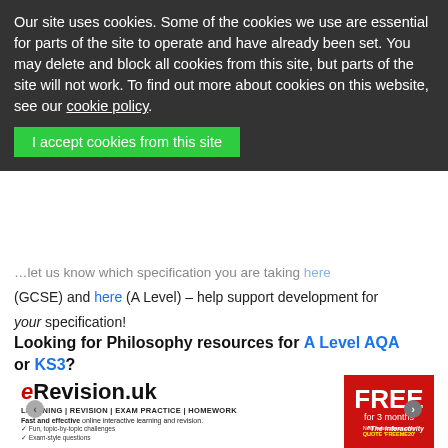Our site uses cookies. Some of the cookies we use are essential for parts of the site to operate and have already been set. You may delete and block all cookies from this site, but parts of the site will not work. To find out more about cookies on this website, see our cookie policy.
I accept cookies from this site
...let us know which specification you are taking here (GCSE) and here (A Level) – help support development for your specification!
Looking for Philosophy resources for A Level AQA or KS3?
Visit our dedicated page.
[Figure (screenshot): eRevision.uk advertisement banner: logo on left, FREE for 3 months offer on right in red, tagline LEARNING | REVISION | EXAM PRACTICE | HOMEWORK, Fast and effective online interactive learning and revision, checkmarks for fun topic-by-topic challenges, Exam-style questions. Quote FREEME20 for new subscribers only.]